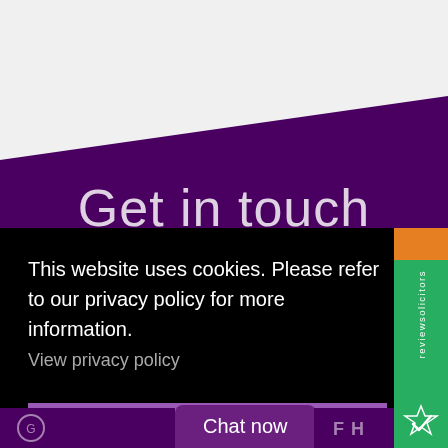[Figure (screenshot): Purple background website header with diagonal light gray section at top and large white text 'Get in touch' partially visible]
This website uses cookies. Please refer to our privacy policy for more information.
View privacy policy
Got it!
Chat now
[Figure (logo): reviewsolicitors vertical badge in green with orange accent and bird/check logo]